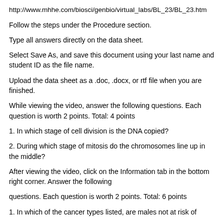http://www.mhhe.com/biosci/genbio/virtual_labs/BL_23/BL_23.htm
Follow the steps under the Procedure section.
Type all answers directly on the data sheet.
Select Save As, and save this document using your last name and student ID as the file name.
Upload the data sheet as a .doc, .docx, or rtf file when you are finished.
While viewing the video, answer the following questions. Each question is worth 2 points. Total: 4 points
1. In which stage of cell division is the DNA copied?
2. During which stage of mitosis do the chromosomes line up in the middle?
After viewing the video, click on the Information tab in the bottom right corner. Answer the following
questions. Each question is worth 2 points. Total: 6 points
1. In which of the cancer types listed, are males not at risk of